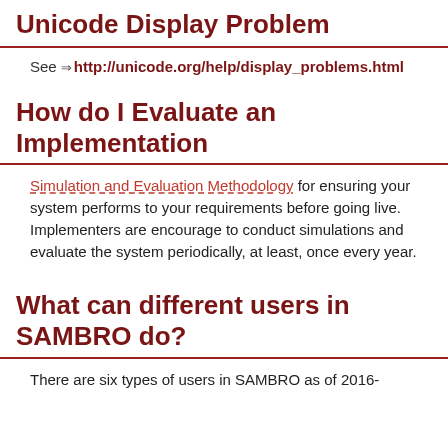Unicode Display Problem
See ⇒ http://unicode.org/help/display_problems.html
How do I Evaluate an Implementation
Simulation and Evaluation Methodology for ensuring your system performs to your requirements before going live. Implementers are encourage to conduct simulations and evaluate the system periodically, at least, once every year.
What can different users in SAMBRO do?
There are six types of users in SAMBRO as of 2016-